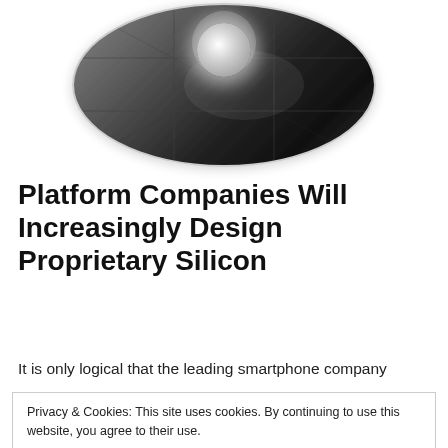[Figure (photo): Circular cropped image of an Apple Mac Pro or similar Apple product with reflective metal surface and grid pattern, with bright light reflection at top]
Platform Companies Will Increasingly Design Proprietary Silicon
It is only logical that the leading smartphone company
Privacy & Cookies: This site uses cookies. By continuing to use this website, you agree to their use.
To find out more, including how to control cookies, see here: Cookie Policy
Close and accept
Intel, Qualcomm, SWKS think of the iPhone and Google's